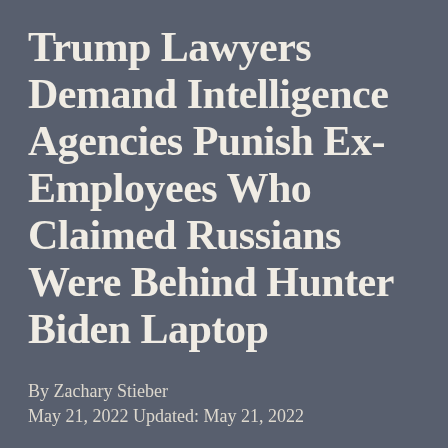Trump Lawyers Demand Intelligence Agencies Punish Ex-Employees Who Claimed Russians Were Behind Hunter Biden Laptop
By Zachary Stieber
May 21, 2022 Updated: May 21, 2022